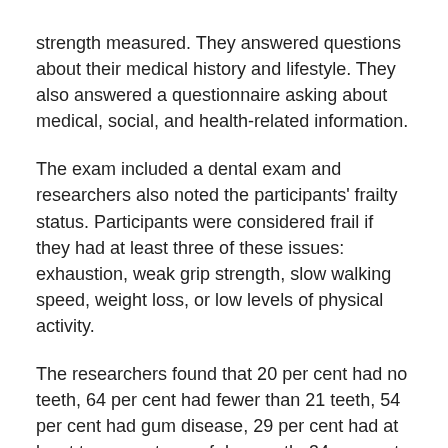strength measured. They answered questions about their medical history and lifestyle. They also answered a questionnaire asking about medical, social, and health-related information.
The exam included a dental exam and researchers also noted the participants' frailty status. Participants were considered frail if they had at least three of these issues: exhaustion, weak grip strength, slow walking speed, weight loss, or low levels of physical activity.
The researchers found that 20 per cent had no teeth, 64 per cent had fewer than 21 teeth, 54 per cent had gum disease, 29 per cent had at least two symptoms of dry mouth, 34 per cent rated their oral health as “fair to poor”, and 11 per cent said they had trouble eating.